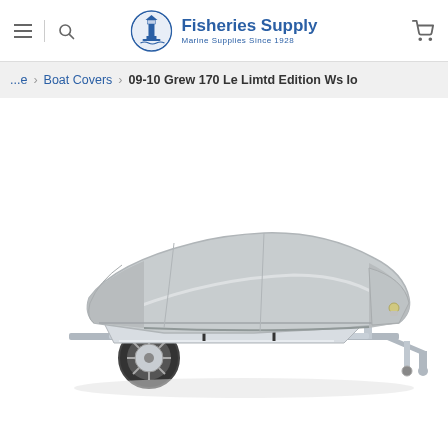Fisheries Supply — Marine Supplies Since 1928
...e > Boat Covers > 09-10 Grew 170 Le Limtd Edition Ws Io
[Figure (photo): A gray boat cover fitted over a motorboat on a single-axle trailer, shown on white background. The cover is gray/silver colored and covers the entire hull. The trailer has chrome/aluminum wheels and a hitch.]